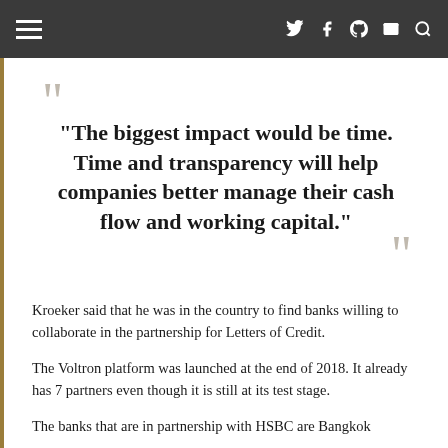Navigation bar with menu icon and social/search icons
“The biggest impact would be time. Time and transparency will help companies better manage their cash flow and working capital.”
Kroeker said that he was in the country to find banks willing to collaborate in the partnership for Letters of Credit.
The Voltron platform was launched at the end of 2018. It already has 7 partners even though it is still at its test stage.
The banks that are in partnership with HSBC are Bangkok